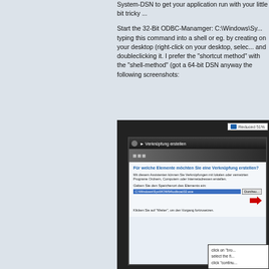System-DSN to get your application run with your little bit tricky ...
Start the 32-Bit ODBC-Manamger: C:\Windows\Sy... typing this command into a shell or eg. by creating on your desktop (right-click on your desktop, selec... and doubleclicking it. I prefer the "shortcut method" with the "shell-method" (got a 64-bit DSN anyway the following screenshots:
[Figure (screenshot): Screenshot of a Windows dialog 'Verknüpfung erstellen' (Create Shortcut) showing a file path input field with C:\Windows\SysWOW64\odbcad32.exe selected, with a Durchsu... (Browse) button, and a callout box with instructions to click 'bro...', select the fi..., click 'continu...']